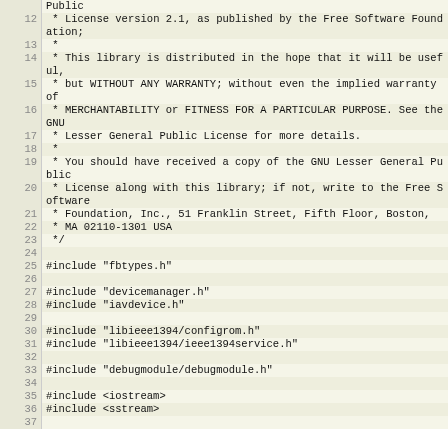Source code listing lines 11-37, C++ file with LGPL license header and includes
11: Public
12:  * License version 2.1, as published by the Free Software Foundation;
13:  *
14:  * This library is distributed in the hope that it will be useful,
15:  * but WITHOUT ANY WARRANTY; without even the implied warranty of
16:  * MERCHANTABILITY or FITNESS FOR A PARTICULAR PURPOSE. See the GNU
17:  * Lesser General Public License for more details.
18:  *
19:  * You should have received a copy of the GNU Lesser General Public
20:  * License along with this library; if not, write to the Free Software
21:  * Foundation, Inc., 51 Franklin Street, Fifth Floor, Boston,
22:  * MA 02110-1301 USA
23:  */
24:
25: #include "fbtypes.h"
26:
27: #include "devicemanager.h"
28: #include "iavdevice.h"
29:
30: #include "libieee1394/configrom.h"
31: #include "libieee1394/ieee1394service.h"
32:
33: #include "debugmodule/debugmodule.h"
34:
35: #include <iostream>
36: #include <sstream>
37: